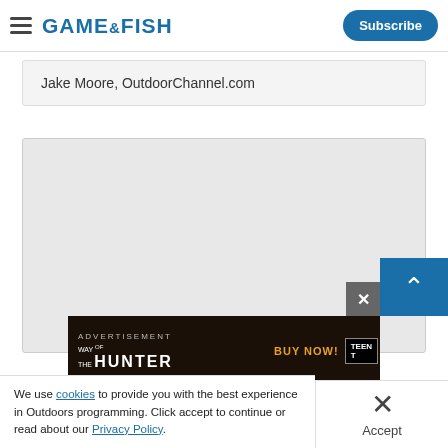GAME&FISH | Subscribe
Jake Moore, OutdoorChannel.com
[Figure (photo): Large image placeholder area, light gray background]
[Figure (other): Advertisement banner: Way of the Hunter game ad with BUY NOW! call to action]
We use cookies to provide you with the best experience in Outdoors programming. Click accept to continue or read about our Privacy Policy.